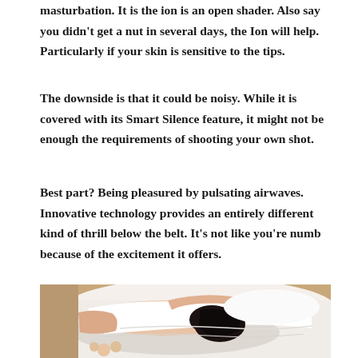masturbation. It is the ion is an open shader. Also say you didn't get a nut in several days, the Ion will help. Particularly if your skin is sensitive to the tips.
The downside is that it could be noisy. While it is covered with its Smart Silence feature, it might not be enough the requirements of shooting your own shot.
Best part? Being pleasured by pulsating airwaves. Innovative technology provides an entirely different kind of thrill below the belt. It's not like you're numb because of the excitement it offers.
[Figure (photo): A person with dark hair lying face down on white bedding/pillows, with their back partially exposed, holding what appears to be flowers. Warm beige/tan background wall visible.]